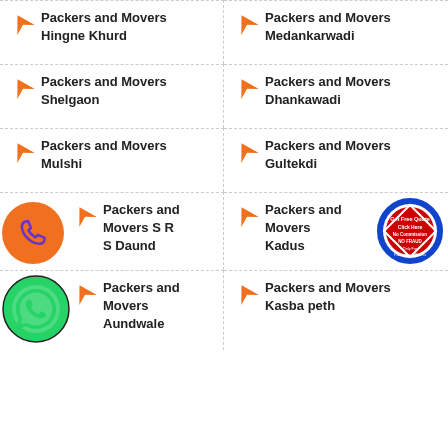Packers and Movers Hingne Khurd
Packers and Movers Medankarwadi
Packers and Movers Shelgaon
Packers and Movers Dhankawadi
Packers and Movers Mulshi
Packers and Movers Gultekdi
Packers and Movers S R S Daund
Packers and Movers Kadus
Packers and Movers Aundwale
Packers and Movers Kasba peth
[Figure (illustration): Orange phone call circle icon overlay]
[Figure (illustration): Green WhatsApp circle icon overlay]
[Figure (illustration): Get Free Quote badge sticker - No Commission, No Fraud, Only For Packers and Movers, Click Here]